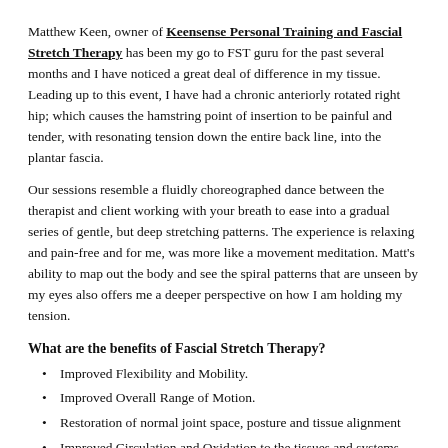Matthew Keen, owner of Keensense Personal Training and Fascial Stretch Therapy has been my go to FST guru for the past several months and I have noticed a great deal of difference in my tissue. Leading up to this event, I have had a chronic anteriorly rotated right hip; which causes the hamstring point of insertion to be painful and tender, with resonating tension down the entire back line, into the plantar fascia.
Our sessions resemble a fluidly choreographed dance between the therapist and client working with your breath to ease into a gradual series of gentle, but deep stretching patterns. The experience is relaxing and pain-free and for me, was more like a movement meditation. Matt's ability to map out the body and see the spiral patterns that are unseen by my eyes also offers me a deeper perspective on how I am holding my tension.
What are the benefits of Fascial Stretch Therapy?
Improved Flexibility and Mobility.
Improved Overall Range of Motion.
Restoration of normal joint space, posture and tissue alignment
Improved Circulation and Oxidation to the tissues and systems.
Improved Energy through increased parasympathetic tone.
Increased Muscle Activation and Relaxation.